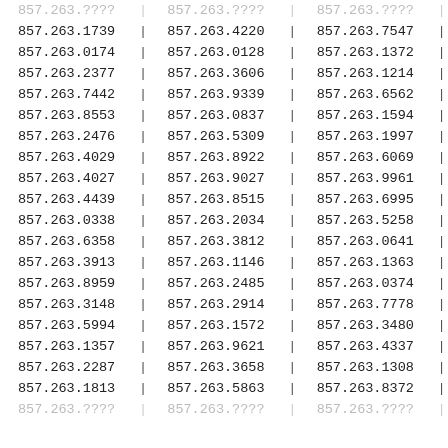| Col1 | Col2 | Col3 |
| --- | --- | --- |
| 857.263.1739 | 857.263.4220 | 857.263.7547 |
| 857.263.0174 | 857.263.0128 | 857.263.1372 |
| 857.263.2377 | 857.263.3606 | 857.263.1214 |
| 857.263.7442 | 857.263.9339 | 857.263.6562 |
| 857.263.8553 | 857.263.0837 | 857.263.1594 |
| 857.263.2476 | 857.263.5309 | 857.263.1997 |
| 857.263.4029 | 857.263.8922 | 857.263.6069 |
| 857.263.4027 | 857.263.9027 | 857.263.9961 |
| 857.263.4439 | 857.263.8515 | 857.263.6995 |
| 857.263.0338 | 857.263.2034 | 857.263.5258 |
| 857.263.6358 | 857.263.3812 | 857.263.0641 |
| 857.263.3913 | 857.263.1146 | 857.263.1363 |
| 857.263.8959 | 857.263.2485 | 857.263.0374 |
| 857.263.3148 | 857.263.2914 | 857.263.7778 |
| 857.263.5994 | 857.263.1572 | 857.263.3480 |
| 857.263.1357 | 857.263.9621 | 857.263.4337 |
| 857.263.2287 | 857.263.3658 | 857.263.1308 |
| 857.263.1813 | 857.263.5863 | 857.263.8372 |